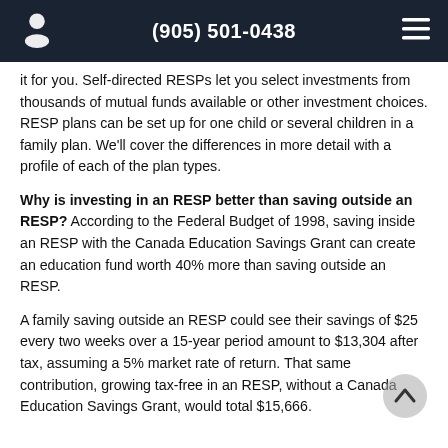(905) 501-0438
it for you. Self-directed RESPs let you select investments from thousands of mutual funds available or other investment choices. RESP plans can be set up for one child or several children in a family plan. We'll cover the differences in more detail with a profile of each of the plan types.
Why is investing in an RESP better than saving outside an RESP?
According to the Federal Budget of 1998, saving inside an RESP with the Canada Education Savings Grant can create an education fund worth 40% more than saving outside an RESP.
A family saving outside an RESP could see their savings of $25 every two weeks over a 15-year period amount to $13,304 after tax, assuming a 5% market rate of return. That same contribution, growing tax-free in an RESP, without a Canada Education Savings Grant, would total $15,666.